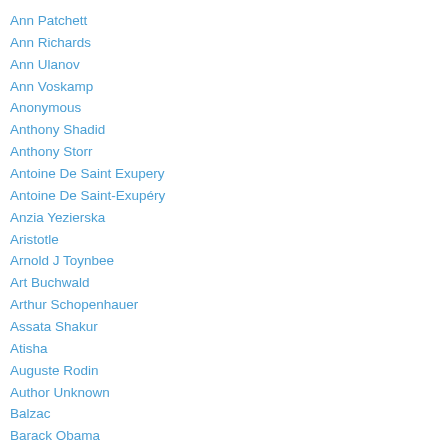Ann Patchett
Ann Richards
Ann Ulanov
Ann Voskamp
Anonymous
Anthony Shadid
Anthony Storr
Antoine De Saint Exupery
Antoine De Saint-Exupéry
Anzia Yezierska
Aristotle
Arnold J Toynbee
Art Buchwald
Arthur Schopenhauer
Assata Shakur
Atisha
Auguste Rodin
Author Unknown
Balzac
Barack Obama